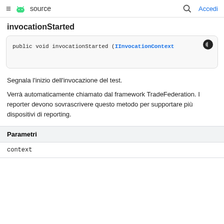≡ 🤖 source   🔍 Accedi
invocationStarted
public void invocationStarted (IInvocationContext
Segnala l'inizio dell'invocazione del test.
Verrà automaticamente chiamato dal framework TradeFederation. I reporter devono sovrascrivere questo metodo per supportare più dispositivi di reporting.
| Parametri |
| --- |
| context |